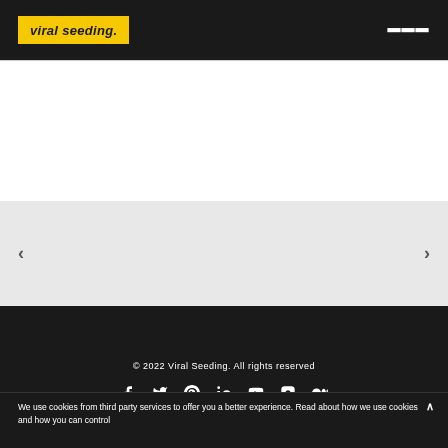viral seeding.
[Figure (other): Carousel navigation section with left and right arrow buttons on a light gray background]
© 2022 Viral Seeding. All rights reserved
[Figure (other): Social media icons row: Facebook, Twitter, Pinterest, LinkedIn, YouTube, Instagram, Medium]
We use cookies from third party services to offer you a better experience. Read about how we use cookies and how you can control